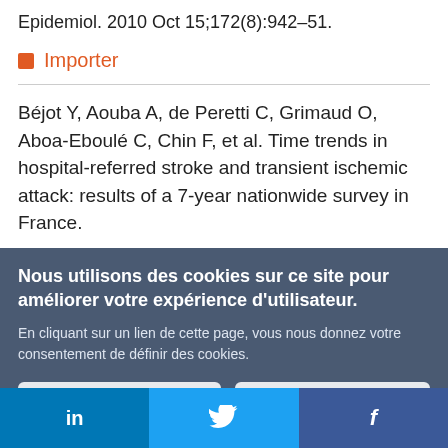Epidemiol. 2010 Oct 15;172(8):942–51.
Importer
Béjot Y, Aouba A, de Peretti C, Grimaud O, Aboa-Eboulé C, Chin F, et al. Time trends in hospital-referred stroke and transient ischemic attack: results of a 7-year nationwide survey in France.
Nous utilisons des cookies sur ce site pour améliorer votre expérience d'utilisateur.

En cliquant sur un lien de cette page, vous nous donnez votre consentement de définir des cookies.
Oui, je suis d'accord
Plus d'infos
in  |  (Twitter bird)  |  f